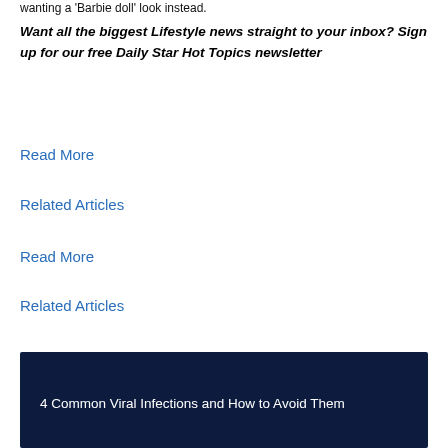wanting a 'Barbie doll' look instead.
Want all the biggest Lifestyle news straight to your inbox? Sign up for our free Daily Star Hot Topics newsletter
Read More
Related Articles
Read More
Related Articles
4 Common Viral Infections and How to Avoid Them